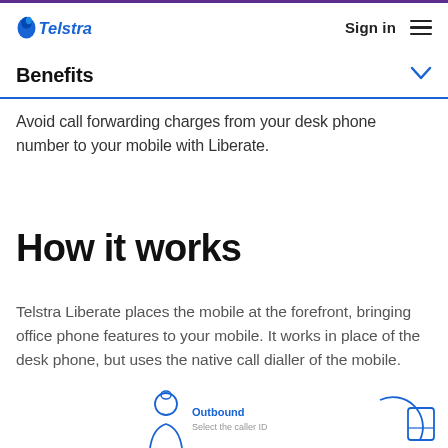Telstra | Sign in
Benefits
Avoid call forwarding charges from your desk phone number to your mobile with Liberate.
How it works
Telstra Liberate places the mobile at the forefront, bringing office phone features to your mobile. It works in place of the desk phone, but uses the native call dialler of the mobile.
[Figure (illustration): Partial illustration showing a person figure (Outbound) with label 'Select the caller ID' and a partial circular element, representing a call flow diagram]